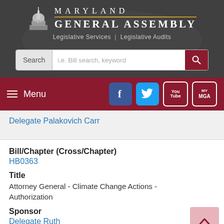[Figure (logo): Maryland General Assembly logo with capitol dome icon, title 'MARYLAND GENERAL ASSEMBLY', gold divider line, and subtitle 'Legislative Services | Legislative Audits']
[Figure (screenshot): Search bar with label 'Search', placeholder text 'i.e. Bill search, keyword', and dark red search button with magnifying glass icon]
[Figure (screenshot): Navigation bar with hamburger menu labeled 'Menu', Facebook icon, Twitter icon, YouTube icon, and MyMGA icon, all on dark red background]
Delegate Palakovich Carr
Bill/Chapter (Cross/Chapter)
HB0363
Title
Attorney General - Climate Change Actions - Authorization
Sponsor
Delegate Ruth